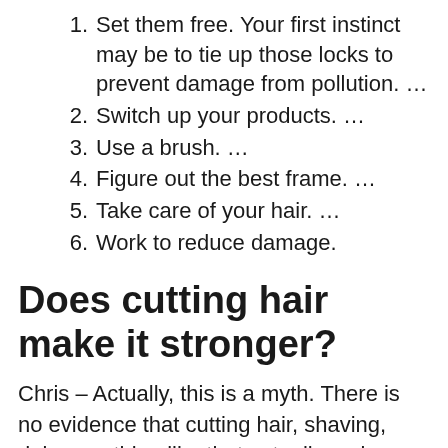1. Set them free. Your first instinct may be to tie up those locks to prevent damage from pollution. …
2. Switch up your products. …
3. Use a brush. …
4. Figure out the best frame. …
5. Take care of your hair. …
6. Work to reduce damage.
Does cutting hair make it stronger?
Chris – Actually, this is a myth. There is no evidence that cutting hair, shaving, doing anything like that actually makes hair grow more or adjust its strength or its length. … And that's when the hair follicle stops for a